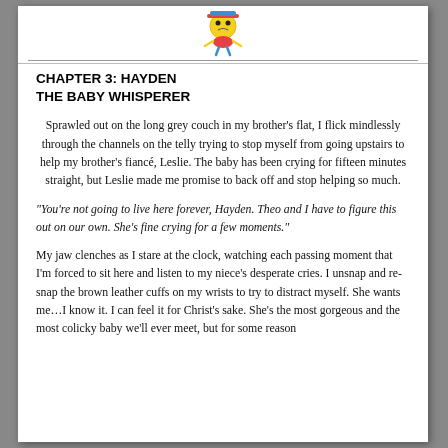[Figure (logo): Cartoon baby/child logo with yellow round face, colorful hat, and small figure below with website URL text]
CHAPTER 3: HAYDEN
THE BABY WHISPERER
Sprawled out on the long grey couch in my brother’s flat, I flick mindlessly through the channels on the telly trying to stop myself from going upstairs to help my brother’s fiancé, Leslie. The baby has been crying for fifteen minutes straight, but Leslie made me promise to back off and stop helping so much.
“You’re not going to live here forever, Hayden. Theo and I have to figure this out on our own. She’s fine crying for a few moments.”
My jaw clenches as I stare at the clock, watching each passing moment that I’m forced to sit here and listen to my niece’s desperate cries. I unsnap and re-snap the brown leather cuffs on my wrists to try to distract myself. She wants me…I know it. I can feel it for Christ’s sake. She’s the most gorgeous and the most colicky baby we’ll ever meet, but for some reason